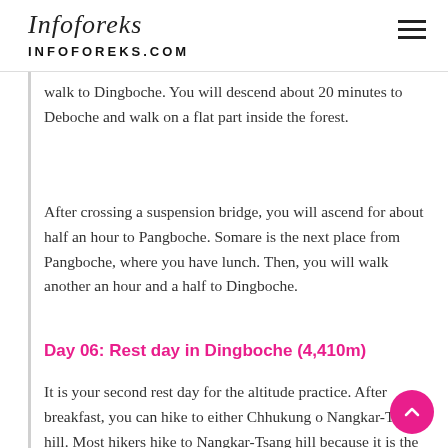Infoforeks — INFOFOREKS.COM
walk to Dingboche. You will descend about 20 minutes to Deboche and walk on a flat part inside the forest.
After crossing a suspension bridge, you will ascend for about half an hour to Pangboche. Somare is the next place from Pangboche, where you have lunch. Then, you will walk another an hour and a half to Dingboche.
Day 06: Rest day in Dingboche (4,410m)
It is your second rest day for the altitude practice. After breakfast, you can hike to either Chhukung or Nangkar-Tsang hill. Most hikers hike to Nangkar-Tsang hill because it is the higher elevation for an